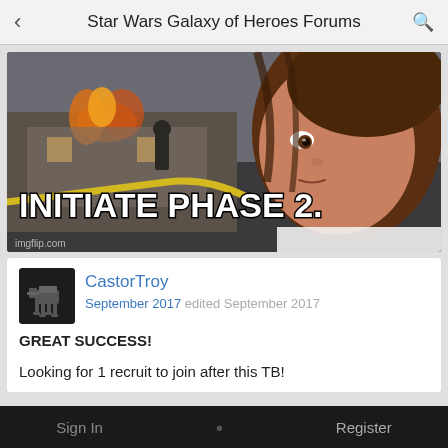Star Wars Galaxy of Heroes Forums
[Figure (photo): Meme image: 'Disaster Girl' meme showing a young girl looking sideways with a slight smirk, with a house fire and firefighters in the background. White bold Impact-style text reads 'INITIATE PHASE 2.' with imgflip.com watermark in lower left.]
CastorTroy
September 2017 edited September 2017
GREAT SUCCESS!
Looking for 1 recruit to join after this TB!
Sign In  Register